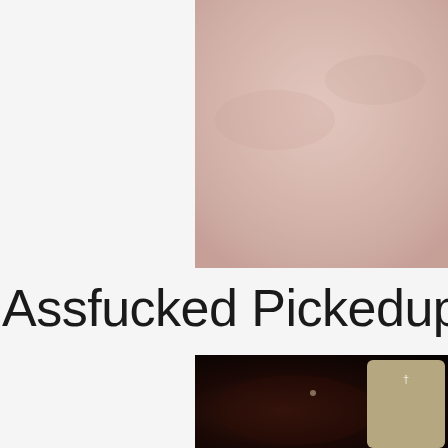[Figure (photo): Close-up photo of skin with pinkish-beige tone, partial view cropped at top of page]
Assfucked Pickedup Gi
[Figure (photo): Dark close-up photo with a tan/khaki colored rectangular overlay box in the lower right area containing a small white symbol]